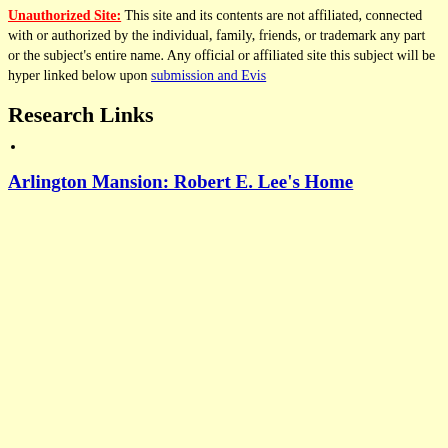Unauthorized Site: This site and its contents are not affiliated, connected with or authorized by the individual, family, friends, or trademark owner of any part or the subject's entire name. Any official or affiliated site related to this subject will be hyper linked below upon submission and Evis...
Research Links
Arlington Mansion: Robert E. Lee's Home
Copyright© 2000 by Evisum Inc.TM. All rights reserved. Evisum Inc.TM Privacy Policy
[Figure (screenshot): Website navigation bar with dark brown background showing links: Art, History, Library, Science with bullet dots]
[Figure (logo): Virtualogy.com banner with USA Today HOT SITE badge, globe graphic, and Estoric Click Here red button]